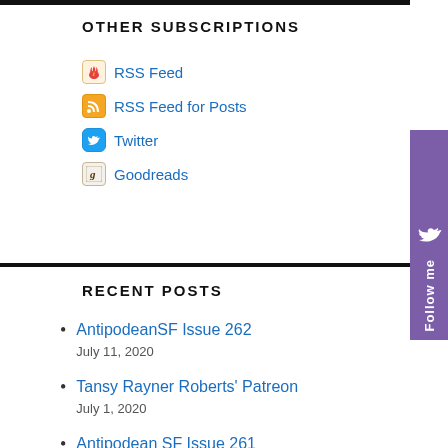OTHER SUBSCRIPTIONS
RSS Feed
RSS Feed for Posts
Twitter
Goodreads
RECENT POSTS
AntipodeanSF Issue 262
July 11, 2020
Tansy Rayner Roberts' Patreon
July 1, 2020
Antipodean SF Issue 261